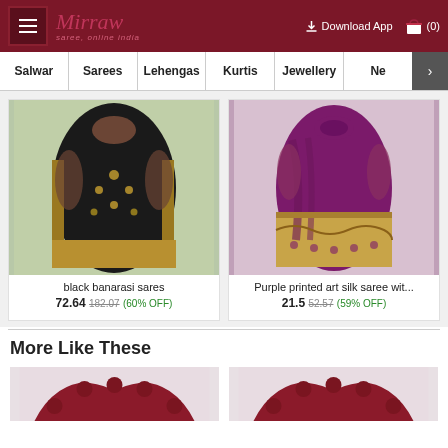Mirraw - saree, online india | Download App | (0)
Salwar | Sarees | Lehengas | Kurtis | Jewellery | Ne >
[Figure (photo): Black Banarasi saree with gold embroidery on a model against green background]
black banarasi sares
72.64  182.07  (60% OFF)
[Figure (photo): Purple printed art silk saree with gold border on a model]
Purple printed art silk saree wit...
21.5  52.57  (59% OFF)
More Like These
[Figure (photo): Partial view of red/maroon saree thumbnail]
[Figure (photo): Partial view of red/maroon saree thumbnail]